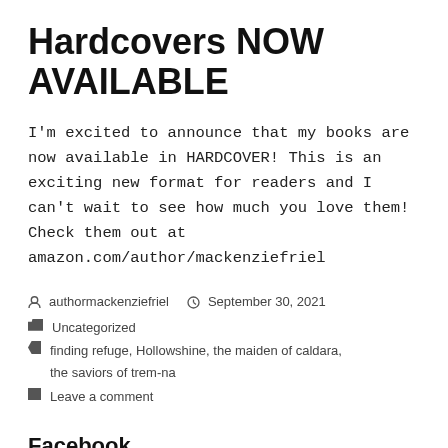Hardcovers NOW AVAILABLE
I'm excited to announce that my books are now available in HARDCOVER! This is an exciting new format for readers and I can't wait to see how much you love them! Check them out at amazon.com/author/mackenziefriel
authormackenziefriel  September 30, 2021
Uncategorized
finding refuge, Hollowshine, the maiden of caldara, the saviors of trem-na
Leave a comment
Facebook